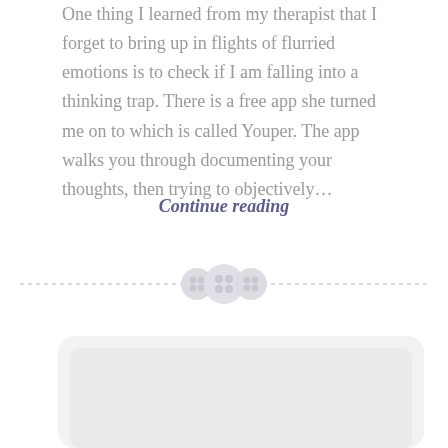One thing I learned from my therapist that I forget to bring up in flights of flurried emotions is to check if I am falling into a thinking trap. There is a free app she turned me on to which is called Youper. The app walks you through documenting your thoughts, then trying to objectively...
Continue reading
[Figure (illustration): A horizontal dashed divider line with three decorative circular button icons centered in the middle]
[Figure (illustration): A light gray rounded rectangle card shape at the bottom of the page]